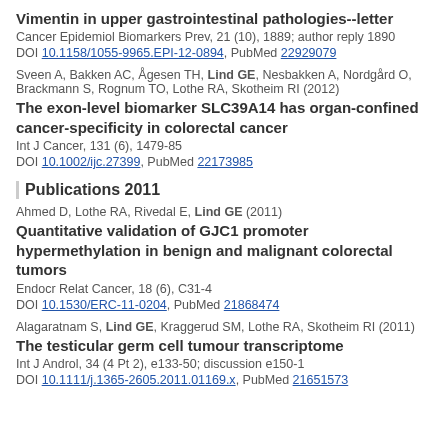Vimentin in upper gastrointestinal pathologies--letter
Cancer Epidemiol Biomarkers Prev, 21 (10), 1889; author reply 1890
DOI 10.1158/1055-9965.EPI-12-0894, PubMed 22929079
Sveen A, Bakken AC, Ågesen TH, Lind GE, Nesbakken A, Nordgård O, Brackmann S, Rognum TO, Lothe RA, Skotheim RI (2012)
The exon-level biomarker SLC39A14 has organ-confined cancer-specificity in colorectal cancer
Int J Cancer, 131 (6), 1479-85
DOI 10.1002/ijc.27399, PubMed 22173985
Publications 2011
Ahmed D, Lothe RA, Rivedal E, Lind GE (2011)
Quantitative validation of GJC1 promoter hypermethylation in benign and malignant colorectal tumors
Endocr Relat Cancer, 18 (6), C31-4
DOI 10.1530/ERC-11-0204, PubMed 21868474
Alagaratnam S, Lind GE, Kraggerud SM, Lothe RA, Skotheim RI (2011)
The testicular germ cell tumour transcriptome
Int J Androl, 34 (4 Pt 2), e133-50; discussion e150-1
DOI 10.1111/j.1365-2605.2011.01169.x, PubMed 21651573